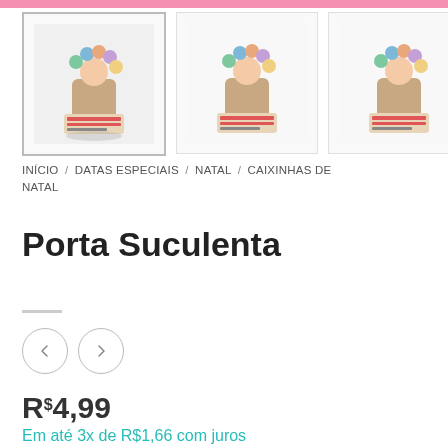[Figure (photo): Three thumbnail images of a succulent plant holder product (Porta Suculenta), showing a decorative Christmas figurine with small colorful balls, displayed in a grid of three thumbnails.]
INÍCIO / DATAS ESPECIAIS / NATAL / CAIXINHAS DE NATAL
Porta Suculenta
R$4,99
Em até 3x de R$1,66 com juros